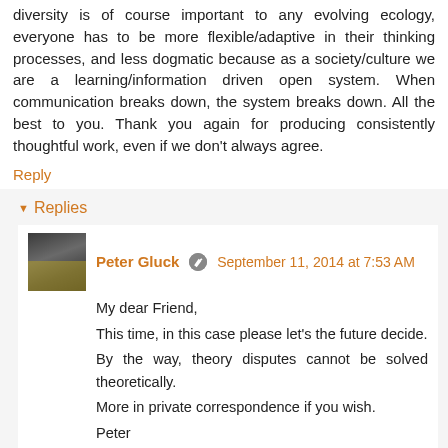diversity is of course important to any evolving ecology, everyone has to be more flexible/adaptive in their thinking processes, and less dogmatic because as a society/culture we are a learning/information driven open system. When communication breaks down, the system breaks down. All the best to you. Thank you again for producing consistently thoughtful work, even if we don't always agree.
Reply
Replies
Peter Gluck   September 11, 2014 at 7:53 AM
My dear Friend,
This time, in this case please let's the future decide.
By the way, theory disputes cannot be solved theoretically.
More in private correspondence if you wish.
Peter
Reply